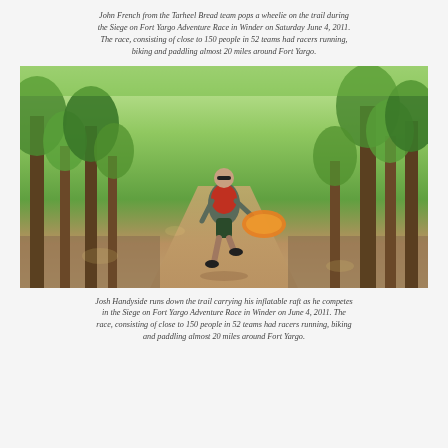John French from the Tarheel Bread team pops a wheelie on the trail during the Siege on Fort Yargo Adventure Race in Winder on Saturday June 4, 2011. The race, consisting of close to 150 people in 52 teams had racers running, biking and paddling almost 20 miles around Fort Yargo.
[Figure (photo): A man running down a wooded trail carrying an inflatable orange raft, wearing sunglasses, a red life vest over a grey shirt, and dark shorts. The trail is a dirt path through green leafy trees with dappled sunlight.]
Josh Handyside runs down the trail carrying his inflatable raft as he competes in the Siege on Fort Yargo Adventure Race in Winder on June 4, 2011. The race, consisting of close to 150 people in 52 teams had racers running, biking and paddling almost 20 miles around Fort Yargo.